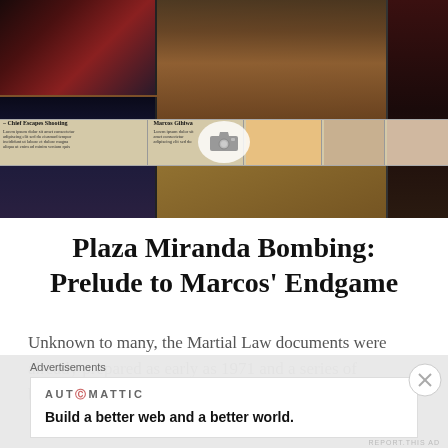[Figure (photo): Photo collage showing a group of men in formal dress standing in a row, with newspaper strip thumbnails below, and a camera icon overlay. Additional partial images on left and right edges with glitch/color distortion effects.]
Plaza Miranda Bombing: Prelude to Marcos' Endgame
Unknown to many, the Martial Law documents were already prepared as early as 1971 and a series of bombings in Metro Manila that are...
Advertisements
AUTOMATTIC
Build a better web and a better world.